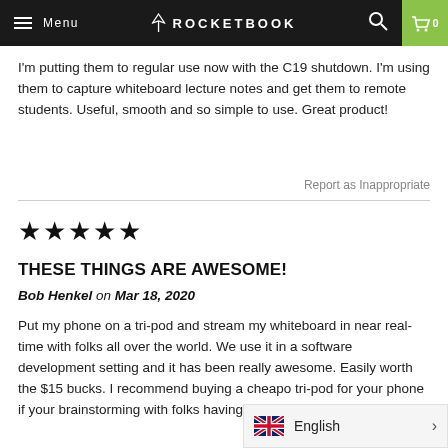Menu | ROCKETBOOK | 0
I'm putting them to regular use now with the C19 shutdown. I'm using them to capture whiteboard lecture notes and get them to remote students. Useful, smooth and so simple to use. Great product!
Report as Inappropriate
★★★★★
THESE THINGS ARE AWESOME!
Bob Henkel on Mar 18, 2020
Put my phone on a tri-pod and stream my whiteboard in near real-time with folks all over the world. We use it in a software development setting and it has been really awesome. Easily worth the $15 bucks. I recommend buying a cheapo tri-pod for your phone if your brainstorming with folks having to pick up your phone and po...